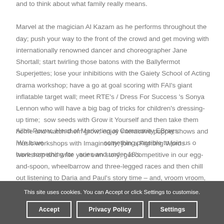and to think about what family really means. Marvel at the magician Al Kazam as he performs throughout the day; push your way to the front of the crowd and get moving with internationally renowned dancer and choreographer Jane Shortall; start twirling those batons with the Ballyfermot Superjettes; lose your inhibitions with the Gaiety School of Acting drama workshop; have a go at goal scoring with FAI's giant inflatable target wall; meet RTE's / Dress For Success 's Sonya Lennon who will have a big bag of tricks for children's dressing-up time;  sow seeds with Grow it Yourself and then take them home and watch them grow; enjoy interactive puppet shows and music workshops with Imaginosity; join a Fighting Words workshop and write your own story; get competitive in our egg-and-spoon, wheelbarrow and three-legged races and then chill out listening to Daria and Paul's story time – and, vroom vroom, here's your chance to see a real fire engine up close thanks to Dublin Fire Brigade.
Ailbh Power, Head of Marketing at Community EBrays: 'We have something for all families and under 18's...
This site uses cookies. You can Accept or click Settings to customise.